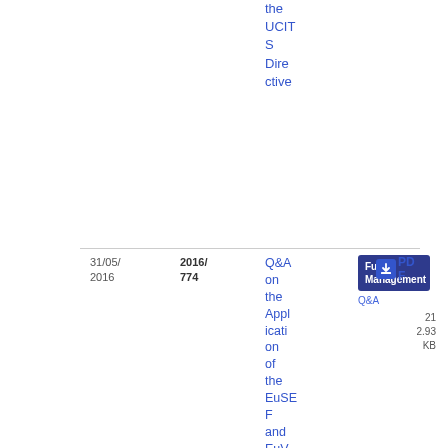the UCITS Directive
| Date | Reference | Title | Category | Download |
| --- | --- | --- | --- | --- |
| 31/05/2016 | 2016/774 | Q&A on the Application of the EuSEF and EuVECA Regulations | Fund Management | PDF 212.93 KB |